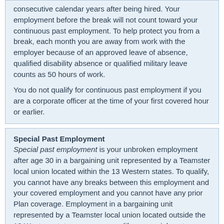consecutive calendar years after being hired. Your employment before the break will not count toward your continuous past employment. To help protect you from a break, each month you are away from work with the employer because of an approved leave of absence, qualified disability absence or qualified military leave counts as 50 hours of work.
You do not qualify for continuous past employment if you are a corporate officer at the time of your first covered hour or earlier.
Special Past Employment
Special past employment is your unbroken employment after age 30 in a bargaining unit represented by a Teamster local union located within the 13 Western states. To qualify, you cannot have any breaks between this employment and your covered employment and you cannot have any prior Plan coverage. Employment in a bargaining unit represented by a Teamster local union located outside the 13 Western states can never qualify as special past employment.